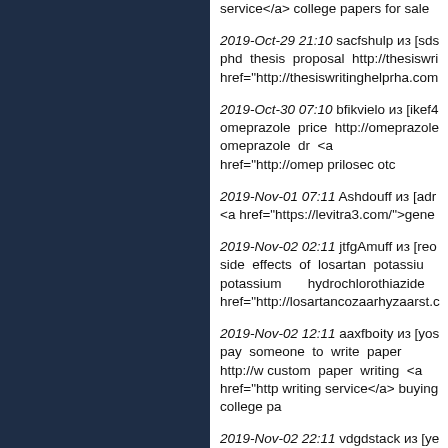service</a> college papers for sale
2019-Oct-29 21:10 sacfshulp из [sds phd thesis proposal http://thesiswri href="http://thesiswritinghelprha.com
2019-Oct-30 07:10 bfikvielo из [ikef4 omeprazole price http://omeprazole omeprazole dr <a href="http://omep prilosec otc
2019-Nov-01 07:11 Ashdouff из [adr <a href="https://levitra3.com/">gene
2019-Nov-02 02:11 jtfgAmuff из [reo side effects of losartan potassiu potassium hydrochlorothiazide href="http://losartancozaarhyzaarst.c
2019-Nov-02 12:11 aaxfboity из [yos pay someone to write paper http://w custom paper writing <a href="http writing service</a> buying college pa
2019-Nov-02 22:11 vdgdstack из [ye what is the best custom essay si